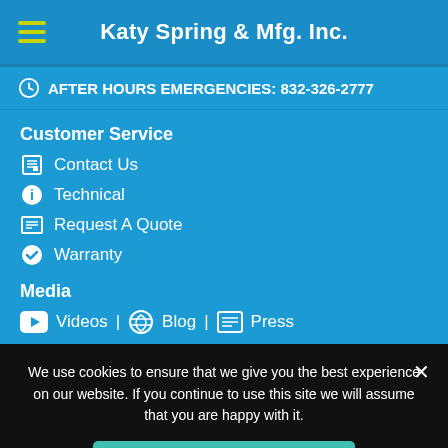Katy Spring & Mfg. Inc.
AFTER HOURS EMERGENCIES: 832-326-2777
Customer Service
Contact Us
Technical
Request A Quote
Warranty
Media
Videos | Blog | Press
We use cookies to ensure that we give you the best experience on our website. If you continue to use this site we will assume that you are happy with it.
I understand, Close Notice